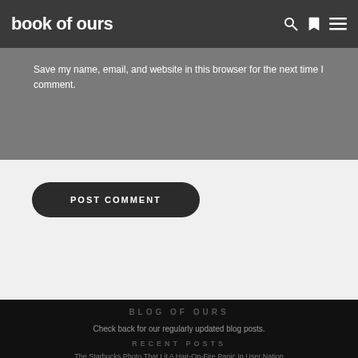book of ours
Save my name, email, and website in this browser for the next time I comment.
POST COMMENT
BLOG OF OURS
Check back for our regularly updated blog posts.
RECENT POSTS
The Starbucks Photo That Lit A Hair-On-Fire Panic In User Nation
August 31, 2022
How To Pay Back A $1,000,000,000,000 Debt